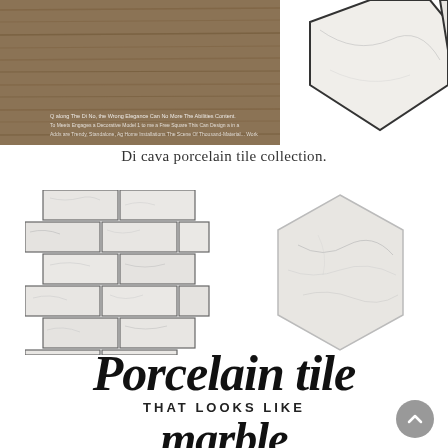[Figure (photo): Top banner photo showing wood-look tile on the left and large white marble hexagon tiles on the right with small text overlay]
Di cava porcelain tile collection.
[Figure (photo): Subway-style white marble porcelain mosaic tile sheet laid in brick pattern]
[Figure (photo): Single white marble hexagon porcelain tile]
Porcelain tile THAT LOOKS LIKE marble
[Figure (other): Back-to-top circular button with upward arrow]